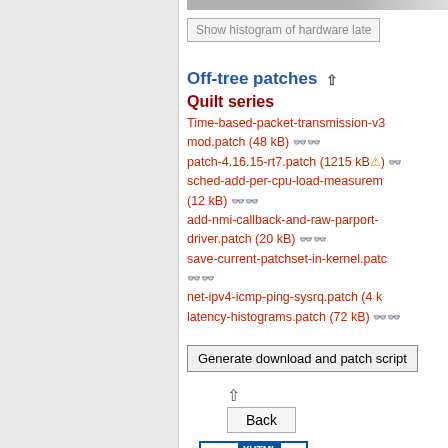Show histogram of hardware late...
Off-tree patches ⇧
Quilt series
Time-based-packet-transmission-v3...mod.patch (48 kB) oo
patch-4.16.15-rt7.patch (1215 kB⚠) oo
sched-add-per-cpu-load-measurem... (12 kB) oo
add-nmi-callback-and-raw-parport-driver.patch (20 kB) oo
save-current-patchset-in-kernel.patc... oo
net-ipv4-icmp-ping-sysrq.patch (4 k...
latency-histograms.patch (72 kB) oo
Generate download and patch script
⇧ Back
[Figure (logo): W3C XHTML 1.0 validation badge]